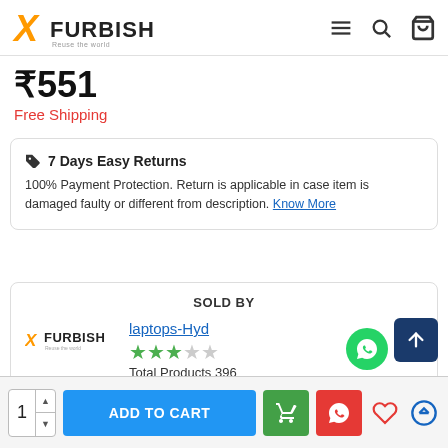Xfurbish - Reuse the world
₹551
Free Shipping
7 Days Easy Returns
100% Payment Protection. Return is applicable in case item is damaged faulty or different from description. Know More
SOLD BY
Xfurbish
laptops-Hyd
★★★☆☆
Total Products 396